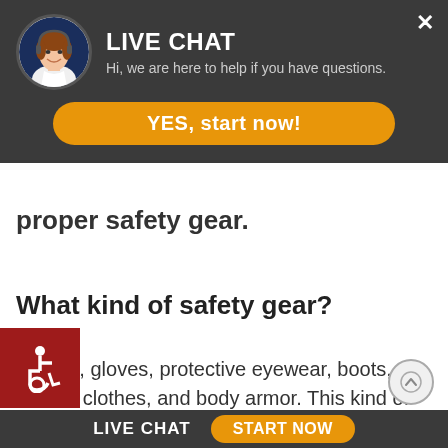[Figure (screenshot): Live chat overlay with avatar of a woman, title 'LIVE CHAT', subtitle, and orange YES start now button]
proper safety gear.
What kind of safety gear?
Helmet, gloves, protective eyewear, boots, leather clothes, and body armor. This kind of gear can both make riding a motorcycle more comfortable and help to protect you from injuries if you [are involved in an accident]
[Figure (illustration): Accessibility wheelchair icon in red square]
LIVE CHAT   START NOW